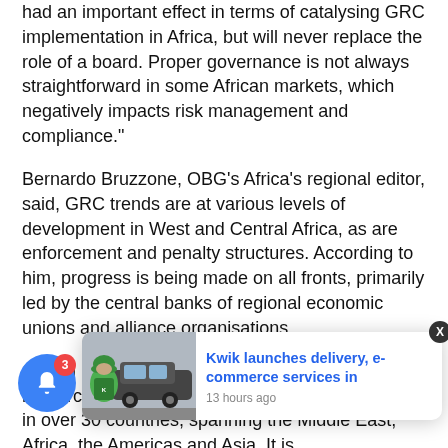had an important effect in terms of catalysing GRC implementation in Africa, but will never replace the role of a board. Proper governance is not always straightforward in some African markets, which negatively impacts risk management and compliance."
Bernardo Bruzzone, OBG's Africa's regional editor, said, GRC trends are at various levels of development in West and Central Africa, as are enforcement and penalty structures. According to him, progress is being made on all fronts, primarily led by the central banks of regional economic unions and alliance organisations.
Oxford Business Group (OBG) is a global research and advisory company with a presence in over 30 countries, spanning the Middle East, Africa, the Americas and Asia. It is recognised ... reputed prov... s fastest-growing markets, termed 'The Yellow Slice, in reference to OBG's corporate colour.
[Figure (photo): Delivery person wearing green helmet and carrying a green Kwik delivery bag, standing near a car]
Kwik launches delivery, e-commerce services in
13 hours ago